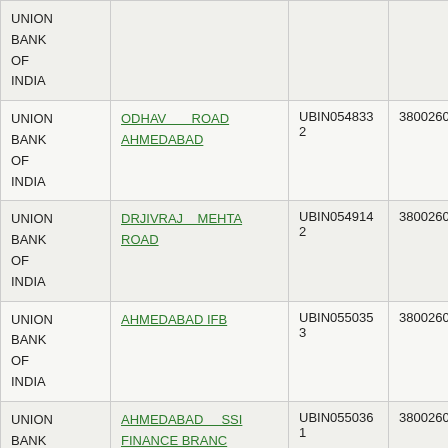| Bank | Branch | IFSC | MICR |
| --- | --- | --- | --- |
| UNION BANK OF INDIA |  |  |  |
| UNION BANK OF INDIA | ODHAV ROAD AHMEDABAD | UBIN0548332 | 380026027 |
| UNION BANK OF INDIA | DRJIVRAJ MEHTA ROAD | UBIN0549142 | 380026028 |
| UNION BANK OF INDIA | AHMEDABAD IFB | UBIN0550353 | 380026030 |
| UNION BANK OF INDIA | AHMEDABAD SSI FINANCE BRANC | UBIN0550361 | 380026029 |